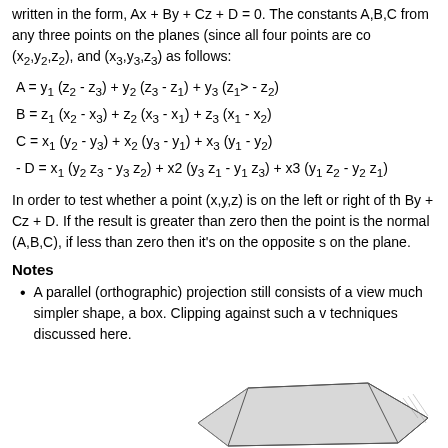written in the form, Ax + By + Cz + D = 0. The constants A,B,C from any three points on the planes (since all four points are coplanar). Given three points (x1,y1,z1), (x2,y2,z2), and (x3,y3,z3) as follows:
In order to test whether a point (x,y,z) is on the left or right of the plane, evaluate Ax + By + Cz + D. If the result is greater than zero then the point is on the same side as the normal (A,B,C), if less than zero then it's on the opposite side, if equal to zero on the plane.
Notes
A parallel (orthographic) projection still consists of a view volume, but it's a much simpler shape, a box. Clipping against such a volume uses the same techniques discussed here.
[Figure (illustration): Partial illustration of a 3D geometric shape (appears to be a frustum or polyhedron), shown at the bottom right of the page.]